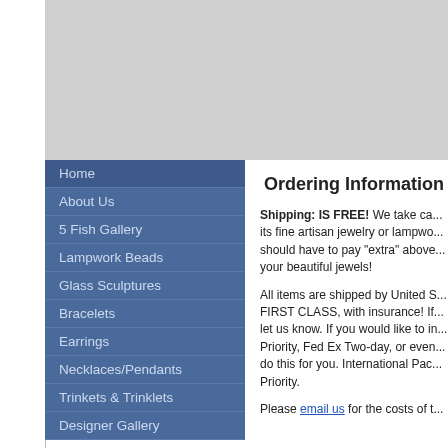[Figure (other): Top banner advertisement area, gray background]
Home
About Us
5 Fish Gallery
Lampwork Beads
Glass Sculptures
Bracelets
Earrings
Necklaces/Pendants
Trinkets & Trinklets
Designer Gallery
Ordering Information
Shipping: IS FREE! We take care of its fine artisan jewelry or lampwo... should have to pay "extra" above... your beautiful jewels!
All items are shipped by United S... FIRST CLASS, with insurance! If... let us know. If you would like to in... Priority, Fed Ex Two-day, or even... do this for you. International Pac... Priority.
Please email us for the costs of t...